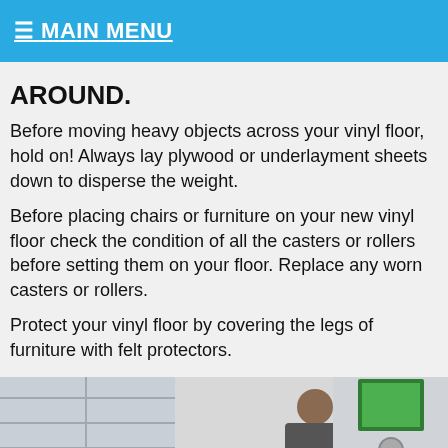≡ MAIN MENU
AROUND.
Before moving heavy objects across your vinyl floor, hold on! Always lay plywood or underlayment sheets down to disperse the weight.
Before placing chairs or furniture on your new vinyl floor check the condition of all the casters or rollers before setting them on your floor. Replace any worn casters or rollers.
Protect your vinyl floor by covering the legs of furniture with felt protectors.
[Figure (photo): A person crouching near shelves/furniture in a room, with shelving unit on the left and items on a shelf to the right.]